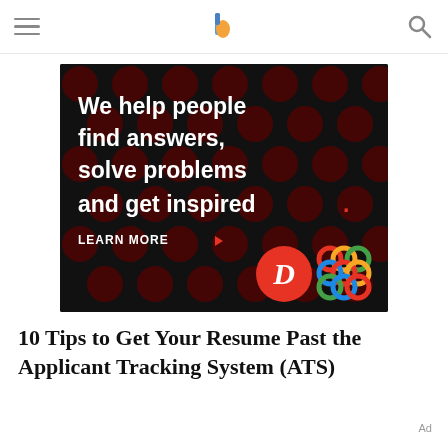[hamburger menu] [logo] [search]
[Figure (illustration): Advertisement banner on black background with dark red polka dots. White bold text reads: 'We help people find answers, solve problems and get inspired.' with a red period. Below is 'LEARN MORE' with a red arrow. Bottom right shows a red circular D logo and a colorful interlocking rings logo.]
10 Tips to Get Your Resume Past the Applicant Tracking System (ATS)
Ad